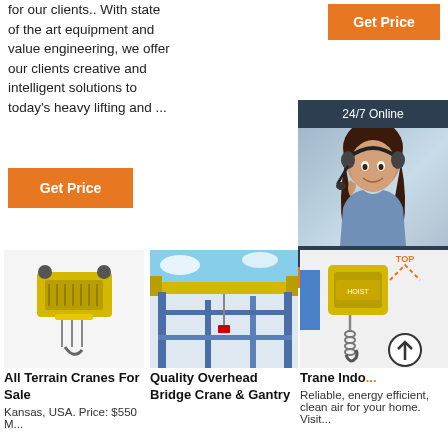for our clients.. With state of the art equipment and value engineering, we offer our clients creative and intelligent solutions to today's heavy lifting and ...
[Figure (illustration): Orange 'Get Price' button (top right)]
[Figure (illustration): Orange 'Get Price' button (left side)]
[Figure (photo): 24/7 Online chat widget with headset woman photo and QUOTATION button]
[Figure (photo): Yellow industrial crane hoist unit photo]
All Terrain Cranes For Sale
Kansas, USA. Price: $550 M...
[Figure (photo): Yellow overhead bridge crane in industrial building photo]
Quality Overhead Bridge Crane & Gantry
[Figure (photo): Yellow chain hoist with hook]
Trane Indo...
Reliable, energy efficient, clean air for your home. Visit...